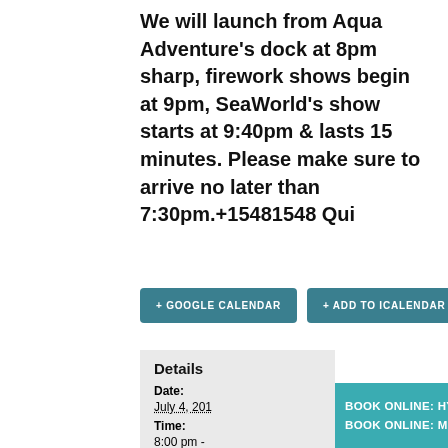We will launch from Aqua Adventure's dock at 8pm sharp, firework shows begin at 9pm, SeaWorld's show starts at 9:40pm & lasts 15 minutes. Please make sure to arrive no later than 7:30pm.+15481548 Qui
+ GOOGLE CALENDAR
+ ADD TO ICALENDAR
Details
Date: July 4, 201...
Time: 8:00 pm -
BOOK ONLINE: HYATT
BOOK ONLINE: MISSION BAY